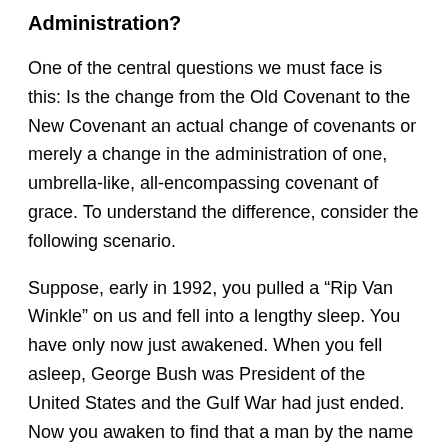Administration?
One of the central questions we must face is this: Is the change from the Old Covenant to the New Covenant an actual change of covenants or merely a change in the administration of one, umbrella-like, all-encompassing covenant of grace. To understand the difference, consider the following scenario.
Suppose, early in 1992, you pulled a “Rip Van Winkle” on us and fell into a lengthy sleep. You have only now just awakened. When you fell asleep, George Bush was President of the United States and the Gulf War had just ended. Now you awaken to find that a man by the name of Bill Clinton is President. What would you conclude? Well, you'd probably make the correct assumption that Bush lost the election in November, 1992 to Clinton. You would